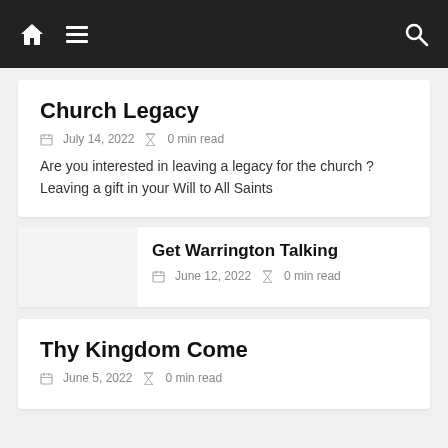Navigation bar with home, menu, and search icons
Church Legacy
July 14, 2022  0 min read
Are you interested in leaving a legacy for the church ? Leaving a gift in your Will to All Saints
Get Warrington Talking
June 12, 2022  0 min read
Thy Kingdom Come
June 5, 2022  0 min read